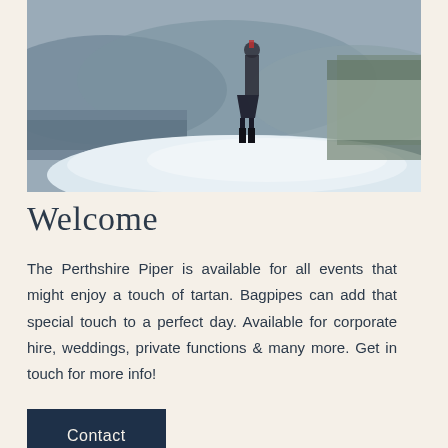[Figure (photo): A person wearing a kilt and knee-high boots stands on a snow-covered rocky outcrop near a loch or river, with frost-covered hills and overcast sky in the background. Scottish Highland winter landscape.]
Welcome
The Perthshire Piper is available for all events that might enjoy a touch of tartan. Bagpipes can add that special touch to a perfect day. Available for corporate hire, weddings, private functions & many more. Get in touch for more info!
Contact